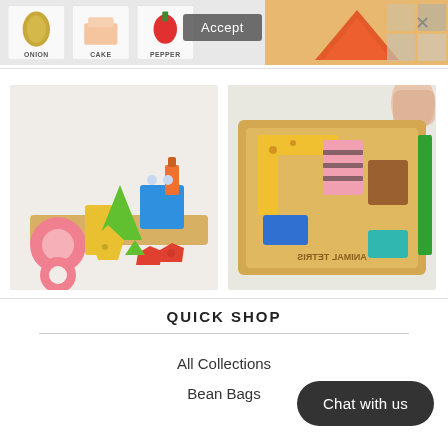[Figure (screenshot): Top strip: partial view of flash card toy images (ONION, CAKE, PEPPER labels visible) and a partial image of what appears to be a toy/product on the right side. An 'Accept' overlay button and a close X button are visible.]
[Figure (photo): Product photo of colorful wooden shape sorting toy with geometric pieces (circles, triangles, squares, pentagons) in pink, yellow, green, blue, orange, and red colors on a wooden base.]
[Figure (photo): Product photo of child playing with Animal Tetris wooden puzzle board game featuring colorful animal-shaped pieces including giraffe, zebra, and other animals.]
QUICK SHOP
All Collections
Bean Bags
Chat with us